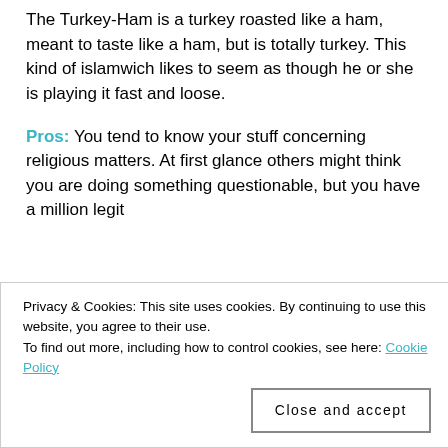The Turkey-Ham is a turkey roasted like a ham, meant to taste like a ham, but is totally turkey. This kind of islamwich likes to seem as though he or she is playing it fast and loose.
Pros: You tend to know your stuff concerning religious matters. At first glance others might think you are doing something questionable, but you have a million legit
Privacy & Cookies: This site uses cookies. By continuing to use this website, you agree to their use.
To find out more, including how to control cookies, see here: Cookie Policy